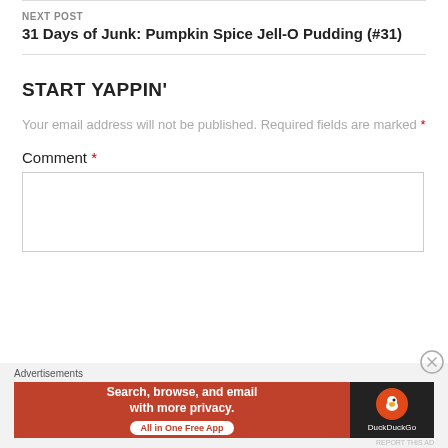31 Days of Junk: Sour Patch Kids Zombie (#29)
NEXT POST
31 Days of Junk: Pumpkin Spice Jell-O Pudding (#31)
START YAPPIN'
Your email address will not be published. Required fields are marked *
Comment *
[Figure (screenshot): DuckDuckGo advertisement banner: orange left panel with 'Search, browse, and email with more privacy. All in One Free App' and dark right panel with DuckDuckGo logo and duck icon]
Advertisements